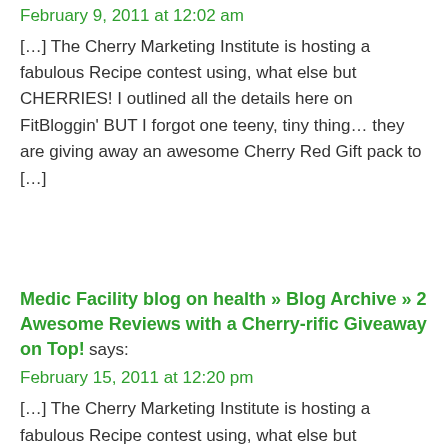February 9, 2011 at 12:02 am
[…] The Cherry Marketing Institute is hosting a fabulous Recipe contest using, what else but CHERRIES! I outlined all the details here on FitBloggin' BUT I forgot one teeny, tiny thing… they are giving away an awesome Cherry Red Gift pack to […]
Medic Facility blog on health » Blog Archive » 2 Awesome Reviews with a Cherry-rific Giveaway on Top! says:
February 15, 2011 at 12:20 pm
[…] The Cherry Marketing Institute is hosting a fabulous Recipe contest using, what else but